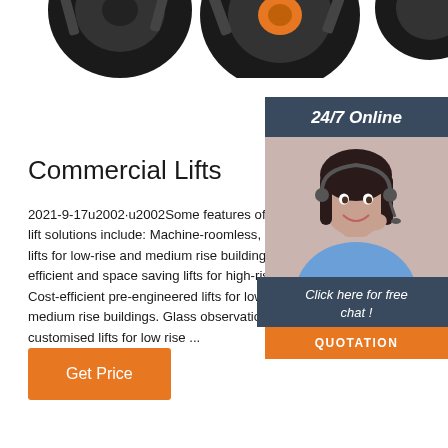[Figure (photo): Partial view of heavy equipment tires/wheels at top of page]
Commercial Lifts
2021-9-17u2002·u2002Some features of our commercial lift solutions include: Machine-roomless, gearless lifts for low-rise and medium rise buildings. Energy efficient and space saving lifts for high-rise buildings. Cost-efficient pre-engineered lifts for low-rise and medium rise buildings. Glass observation lifts and customised lifts for low rise ...
[Figure (photo): Sidebar widget showing a customer service representative wearing a headset, with '24/7 Online' header, 'Click here for free chat!' text, and orange QUOTATION button, on dark blue background]
Get Price